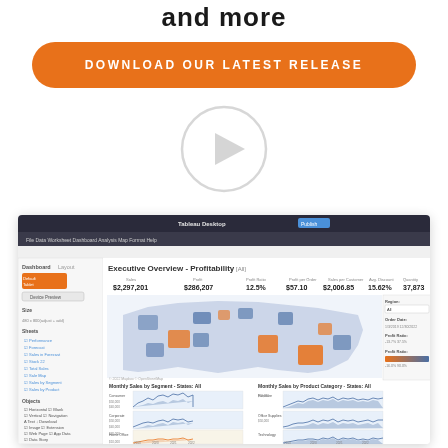and more
DOWNLOAD OUR LATEST RELEASE
[Figure (other): Play button circle icon for video]
[Figure (screenshot): Tableau Desktop screenshot showing Executive Overview - Profitability dashboard with a US map, summary metrics (Sales $2,297,201, Profit $286,207, Profit Ratio 12.5%, Profit per Order $57.10, Sales per Customer $2,006.85, Avg. Discount 15.62%, Quantity 37,873), and Monthly Sales by Segment and Monthly Sales by Product Category charts]